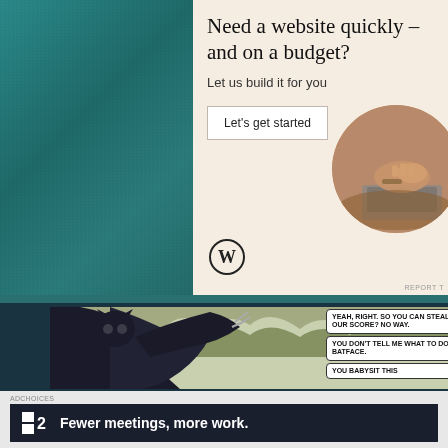[Figure (screenshot): Teal/dark turquoise fabric texture background on the left side of the upper portion of the page]
[Figure (screenshot): WordPress advertisement panel with cream/beige background. Headline: 'Need a website quickly – and on a budget?' Subtext: 'Let us build it for you'. Button: 'Let's get started'. WordPress logo at bottom left. Circular photo of hands typing on a laptop in the top right corner.]
Need a website quickly – and on a budget?
Let us build it for you
Let's get started
REPORT T
[Figure (illustration): Comic book panel showing a superhero (Catwoman-like character) in black costume with speech bubbles reading: 'YEAH, RIGHT. SO YOU CAN STEAL OUR SCORE? NO WAY.' 'YOU DON'T TELL ME WHAT TO DO, BATFACE.' 'YOU BABYSIT THIS']
AdChoices
[Figure (screenshot): Dark advertisement bar for Felicity/F2 product with logo and text 'Fewer meetings, more work.']
Fewer meetings, more work.